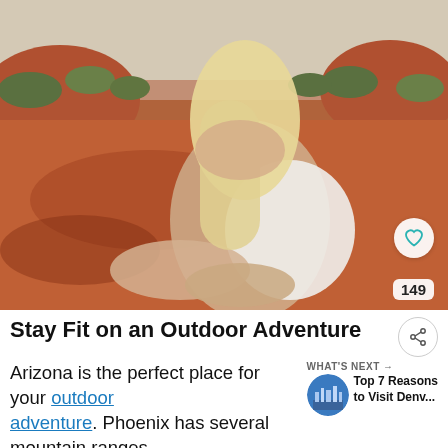[Figure (photo): Blonde woman sitting on red rock in an outdoor desert landscape (Sedona, Arizona style), wrapped in a white cloth, with red rock formations and green shrubs in the background.]
Stay Fit on an Outdoor Adventure
Arizona is the perfect place for your outdoor adventure. Phoenix has several mountain ranges
[Figure (photo): Small circular thumbnail of a city skyline, labeled 'WHAT'S NEXT → Top 7 Reasons to Visit Denv...']